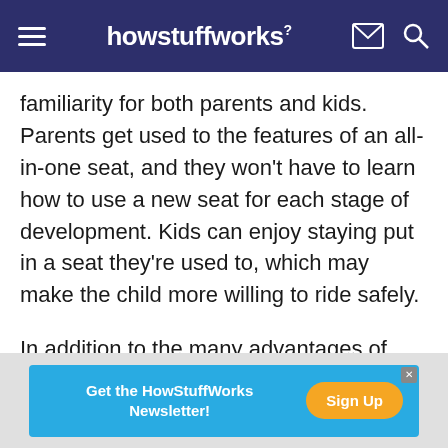howstuffworks
familiarity for both parents and kids. Parents get used to the features of an all-in-one seat, and they won't have to learn how to use a new seat for each stage of development. Kids can enjoy staying put in a seat they're used to, which may make the child more willing to ride safely.
In addition to the many advantages of these seats, parents should also consider the potential cons of all-in-one car seats. One of the primary drawbacks to these units is their larger size and weight. Unlike
[Figure (infographic): Advertisement banner: 'Get the HowStuffWorks Newsletter!' with a 'Sign Up' button in orange on a blue background.]